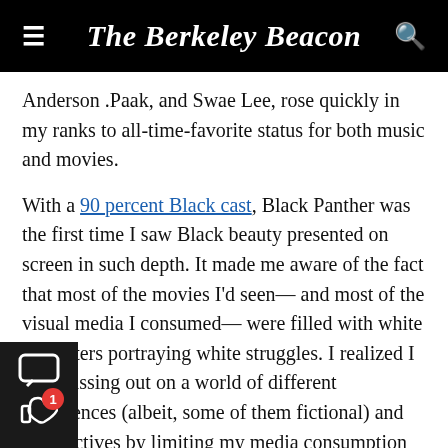The Berkeley Beacon
Anderson .Paak, and Swae Lee, rose quickly in my ranks to all-time-favorite status for both music and movies.
With a 90 percent Black cast, Black Panther was the first time I saw Black beauty presented on screen in such depth. It made me aware of the fact that most of the movies I'd seen— and most of the visual media I consumed— were filled with white characters portraying white struggles. I realized I was missing out on a world of different experiences (albeit, some of them fictional) and perspectives by limiting my media consumption to experiences that solely reflected my own.
ew to identify with Black media, despite the many erences between the Black experience and my own. It ame a way for me to interact with a culture that wasn't mine and sympathize with a life I'll never know. With this